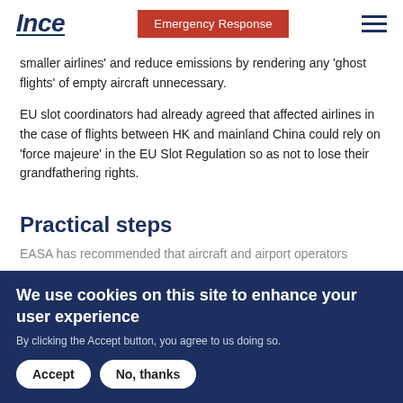Ince | Emergency Response
smaller airlines' and reduce emissions by rendering any 'ghost flights' of empty aircraft unnecessary.
EU slot coordinators had already agreed that affected airlines in the case of flights between HK and mainland China could rely on 'force majeure' in the EU Slot Regulation so as not to lose their grandfathering rights.
Practical steps
EASA has recommended that aircraft and airport operators...
We use cookies on this site to enhance your user experience
By clicking the Accept button, you agree to us doing so.